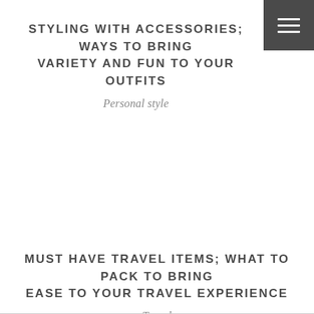STYLING WITH ACCESSORIES; WAYS TO BRING VARIETY AND FUN TO YOUR OUTFITS
Personal style
MUST HAVE TRAVEL ITEMS; WHAT TO PACK TO BRING EASE TO YOUR TRAVEL EXPERIENCE
Travel